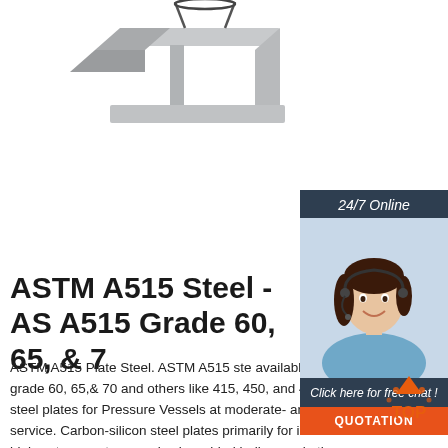[Figure (photo): Photograph of steel I-beam/plate material shown at an angle on a white background]
[Figure (photo): 24/7 Online customer service representative (woman with headset) with chat and quotation call-to-action sidebar]
ASTM A515 Steel - ASTM A515 Grade 60, 65, & 70
ASTM A515 Plate Steel. ASTM A515 steel is available as ASTM A515 grade 60, 65,& 70 and others like 415, 450, and 485. These carbon steel plates for Pressure Vessels at moderate- and lower-temperature service. Carbon-silicon steel plates primarily for intermediate- and higher-temperature service in welded boilers and other